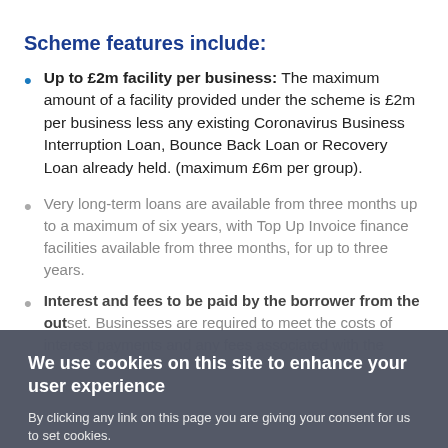Scheme features include:
Up to £2m facility per business: The maximum amount of a facility provided under the scheme is £2m per business less any existing Coronavirus Business Interruption Loan, Bounce Back Loan or Recovery Loan already held. (maximum £6m per group).
Very long-term loans are available from three months up to a maximum of six years, with Top Up Invoice finance facilities available from three months, for up to three years.
Interest and fees to be paid by the borrower from the outset. Businesses are required to meet the costs of interest payments and any fees associated with the
We use cookies on this site to enhance your user experience
By clicking any link on this page you are giving your consent for us to set cookies.
OK, I agree
No, thanks